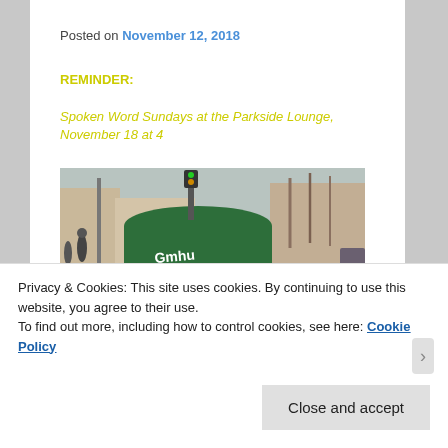Posted on November 12, 2018
REMINDER:
Spoken Word Sundays at the Parkside Lounge, November 18 at 4
[Figure (photo): Street photo of a green graffiti-covered cylindrical trash can or mailbox on a city sidewalk, with an urban street scene in the background including cars, buildings, and bare trees.]
Privacy & Cookies: This site uses cookies. By continuing to use this website, you agree to their use.
To find out more, including how to control cookies, see here: Cookie Policy